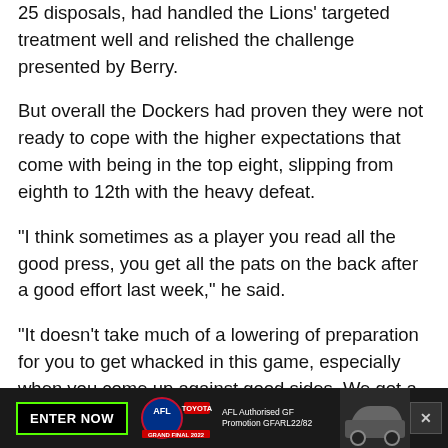25 disposals, had handled the Lions' targeted treatment well and relished the challenge presented by Berry.
But overall the Dockers had proven they were not ready to cope with the higher expectations that come with being in the top eight, slipping from eighth to 12th with the heavy defeat.
"I think sometimes as a player you read all the good press, you get all the pats on the back after a good effort last week," he said.
"It doesn't take much of a lowering of preparation for you to get whacked in this game, especially when you come up against good sides. We got a lesson today."
Longmuir said the Dockers had a level of pressure they could handle from the opposition, but a theme of their season was that they couldn't absorb anything above that and still play
[Figure (other): Advertisement banner at bottom: black background with green-bordered ENTER NOW button, AFL Toyota Grand Final 2022 logo, AFL Authorised GF Promotion GFARL22/82 text, partial car image on right, and X close button.]